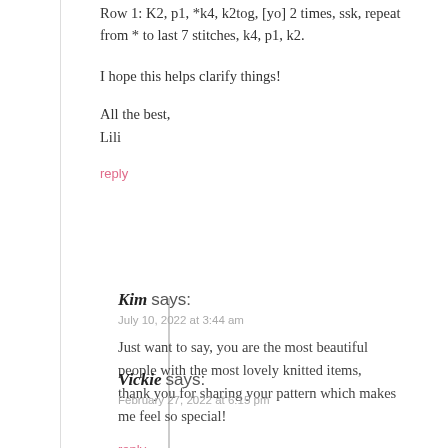Row 1: K2, p1, *k4, k2tog, [yo] 2 times, ssk, repeat from * to last 7 stitches, k4, p1, k2.
I hope this helps clarify things!
All the best,
Lili
reply
Kim says:
July 10, 2022 at 3:44 am
Just want to say, you are the most beautiful people with the most lovely knitted items, thank you for sharing your pattern which makes me feel so special!
reply
Vickie says:
February 27, 2022 at 6:15 pm